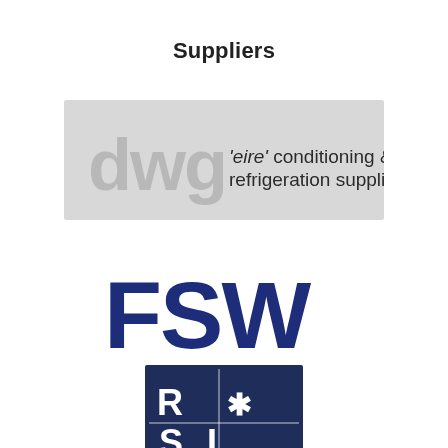Suppliers
[Figure (logo): DWG 'eire' conditioning & refrigeration supplier logo on grey background]
[Figure (logo): FSW logo in dark navy/blue bold letters]
[Figure (logo): RSI Group logo on dark navy square background with white R, asterisk/snowflake, S, I and 'Group' text]